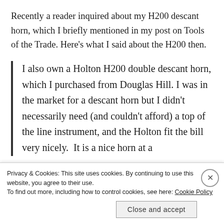Recently a reader inquired about my H200 descant horn, which I briefly mentioned in my post on Tools of the Trade. Here's what I said about the H200 then.
I also own a Holton H200 double descant horn, which I purchased from Douglas Hill. I was in the market for a descant horn but I didn't necessarily need (and couldn't afford) a top of the line instrument, and the Holton fit the bill very nicely.  It is a nice horn at a
Privacy & Cookies: This site uses cookies. By continuing to use this website, you agree to their use.
To find out more, including how to control cookies, see here: Cookie Policy
Close and accept